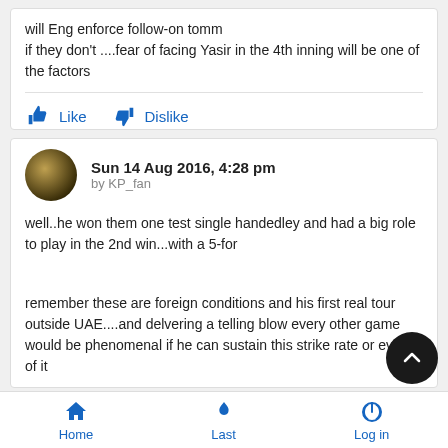will Eng enforce follow-on tomm
if they don't ....fear of facing Yasir in the 4th inning will be one of the factors
Sun 14 Aug 2016, 4:28 pm
by KP_fan
well..he won them one test single handedley and had a big role to play in the 2nd win...with a 5-for
remember these are foreign conditions and his first real tour outside UAE....and delvering a telling blow every other game would be phenomenal if he can sustain this strike rate or ev half of it
Home   Last   Log in